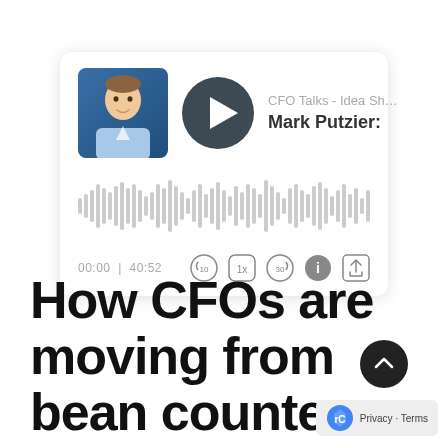[Figure (screenshot): Podcast audio player card showing a photo of Mark Putzier, a play button, show name 'CFO Talks - Idea Sha...', guest name 'Mark Putzier:', audio waveform visualization, timestamp '00:00 | 40:52', and playback controls (rewind 10, speed 1x, forward 30, info, share)]
How CFOs are moving from bean counters to business